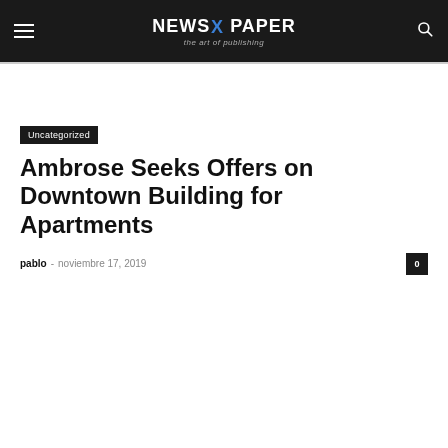NEWS X PAPER — the art of publishing
Uncategorized
Ambrose Seeks Offers on Downtown Building for Apartments
pablo — noviembre 17, 2019   0